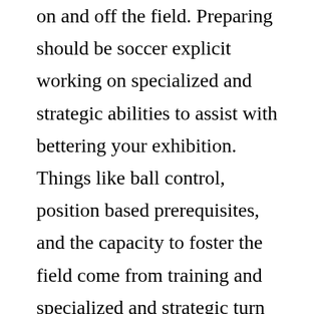on and off the field. Preparing should be soccer explicit working on specialized and strategic abilities to assist with bettering your exhibition. Things like ball control, position based prerequisites, and the capacity to foster the field come from training and specialized and strategic turn of events. In any case, research is currently showing the significance of having a solid base in speed, nimbleness, and strength is similarly pretty much as significant as the specialized and strategic abilities the player utilizes inside the game.